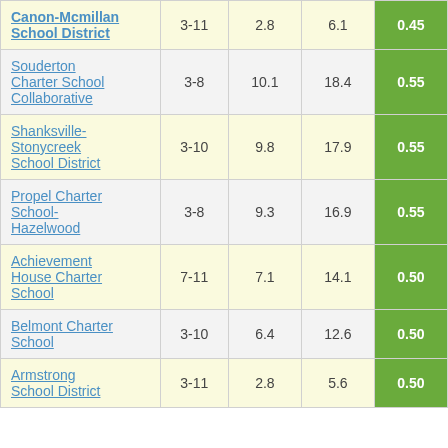| School/District | Grades | Col3 | Col4 | Score |
| --- | --- | --- | --- | --- |
| Canon-Mcmillan School District | 3-11 | 2.8 | 6.1 | 0.45 |
| Souderton Charter School Collaborative | 3-8 | 10.1 | 18.4 | 0.55 |
| Shanksville-Stonycreek School District | 3-10 | 9.8 | 17.9 | 0.55 |
| Propel Charter School-Hazelwood | 3-8 | 9.3 | 16.9 | 0.55 |
| Achievement House Charter School | 7-11 | 7.1 | 14.1 | 0.50 |
| Belmont Charter School | 3-10 | 6.4 | 12.6 | 0.50 |
| Armstrong School District | 3-11 | 2.8 | 5.6 | 0.50 |